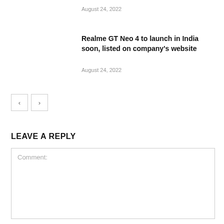August 24, 2022
Realme GT Neo 4 to launch in India soon, listed on company's website
August 24, 2022
< >
LEAVE A REPLY
Comment: